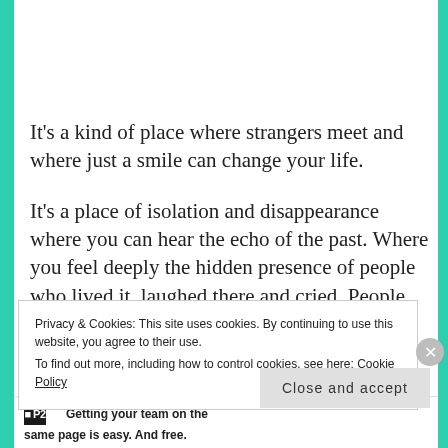It's a kind of place where strangers meet and where just a smile can change your life.
It's a place of isolation and disappearance where you can hear the echo of the past. Where you feel deeply the hidden presence of people who lived it, laughed there and cried. People who fell for each other's eyes
Privacy & Cookies: This site uses cookies. By continuing to use this website, you agree to their use.
To find out more, including how to control cookies, see here: Cookie Policy
Close and accept
Getting your team on the same page is easy. And free.